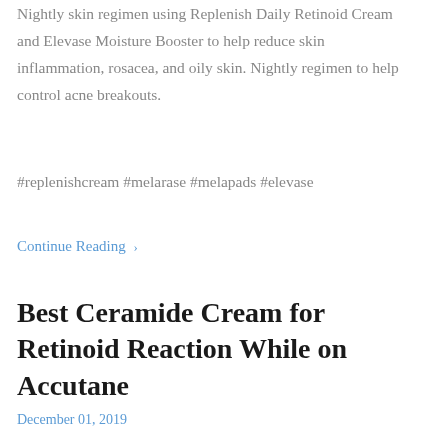Nightly skin regimen using Replenish Daily Retinoid Cream and Elevase Moisture Booster to help reduce skin inflammation, rosacea, and oily skin. Nightly regimen to help control acne breakouts.
#replenishcream #melarase #melapads #elevase
Continue Reading ›
Best Ceramide Cream for Retinoid Reaction While on Accutane
December 01, 2019